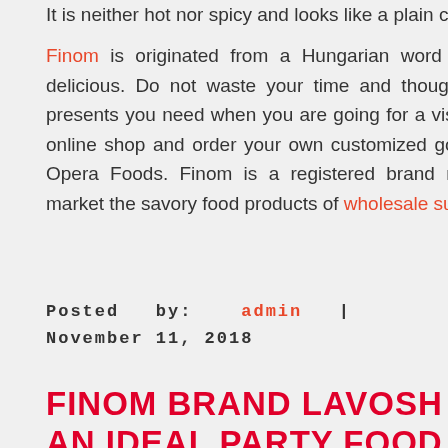It is neither hot nor spicy and looks like a plain cracker.

Finom is originated from a Hungarian word which means tasty & delicious. Do not waste your time and thought about the gifts and presents you need when you are going for a visit next time. Get in our online shop and order your own customized gourmet gift basket from Opera Foods. Finom is a registered brand name to highlight and market the savory food products of wholesale suppliers Opera Foods.
Posted by: admin | November 11, 2018
FINOM BRAND LAVOSH AN IDEAL PARTY FOOD